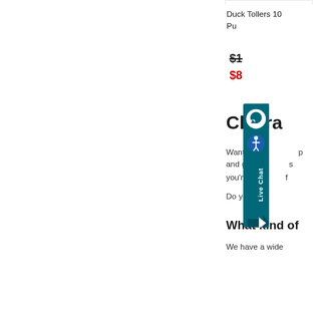Duck Tollers 10
Pu
$1[strikethrough price]
$8[sale price]
Clearance e
Want a g p and game s you're su f
Do you ha
What kind of
We have a wide
[Figure (other): Live Chat widget overlay button in teal/dark blue with chat bubble icon, accessibility icon, rotated 'Live Chat' text, and arrow pointing right]